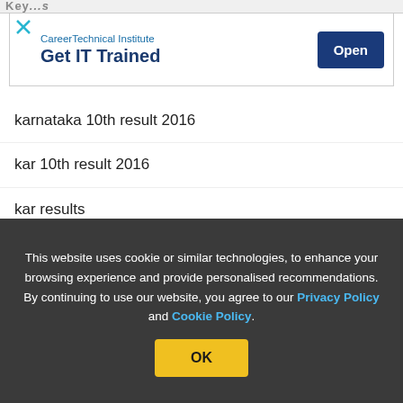Key...s
[Figure (screenshot): Advertisement banner for CareerTechnical Institute with tagline 'Get IT Trained' and an Open button]
karnataka 10th result 2016
kar 10th result 2016
kar results
karnataka board results
karnakta results 2016
10th result 2016 karnataka
This website uses cookie or similar technologies, to enhance your browsing experience and provide personalised recommendations. By continuing to use our website, you agree to our Privacy Policy and Cookie Policy.
OK